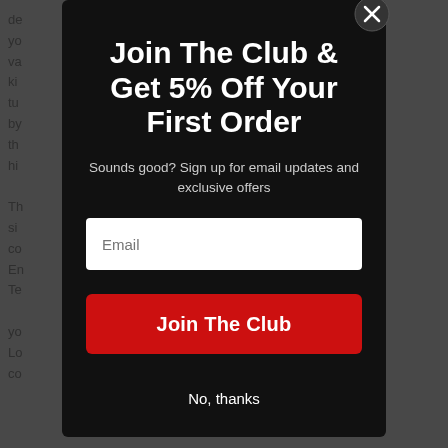Join The Club & Get 5% Off Your First Order
Sounds good? Sign up for email updates and exclusive offers
Email
Join The Club
No, thanks